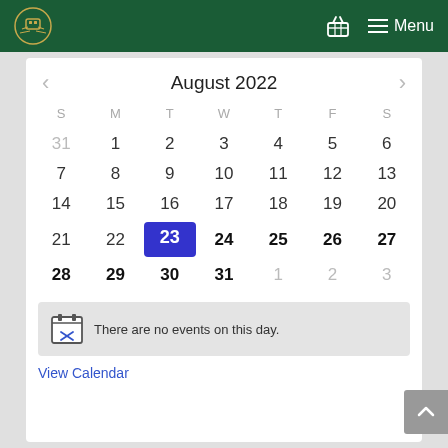Menu
[Figure (other): August 2022 calendar widget with navigation arrows, day-of-week headers (S M T W T F S), date grid showing 31–27, with August 23 highlighted in blue, and a 'no events on this day' message below]
There are no events on this day.
View Calendar